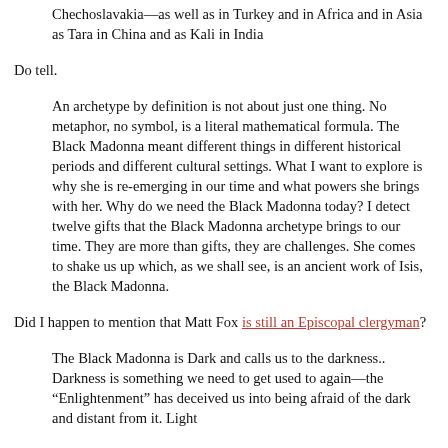Chechoslavakia—as well as in Turkey and in Africa and in Asia as Tara in China and as Kali in India
Do tell.
An archetype by definition is not about just one thing. No metaphor, no symbol, is a literal mathematical formula. The Black Madonna meant different things in different historical periods and different cultural settings. What I want to explore is why she is re-emerging in our time and what powers she brings with her. Why do we need the Black Madonna today? I detect twelve gifts that the Black Madonna archetype brings to our time. They are more than gifts, they are challenges. She comes to shake us up which, as we shall see, is an ancient work of Isis, the Black Madonna.
Did I happen to mention that Matt Fox is still an Episcopal clergyman?
The Black Madonna is Dark and calls us to the darkness.. Darkness is something we need to get used to again—the “Enlightenment” has deceived us into being afraid of the dark and distant from it. Light